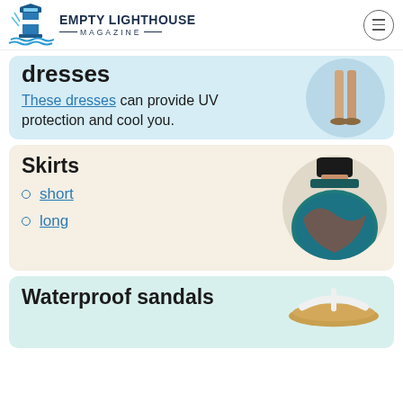EMPTY LIGHTHOUSE MAGAZINE
dresses
These dresses can provide UV protection and cool you.
Skirts
short
long
Waterproof sandals